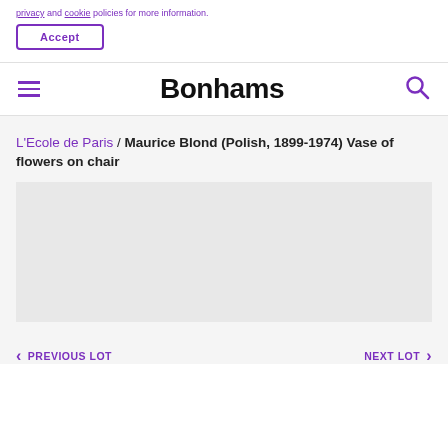privacy and cookie policies for more information.
Accept
Bonhams
L'Ecole de Paris / Maurice Blond (Polish, 1899-1974) Vase of flowers on chair
[Figure (photo): Light grey image placeholder area for the auction lot artwork]
PREVIOUS LOT
NEXT LOT